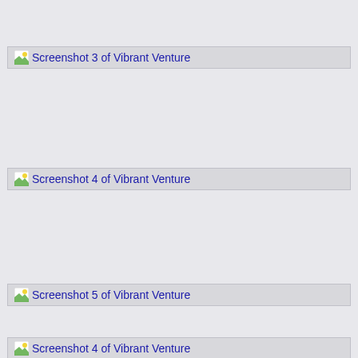[Figure (screenshot): Screenshot 3 of Vibrant Venture — broken image placeholder with icon and alt text link]
[Figure (screenshot): Screenshot 4 of Vibrant Venture — broken image placeholder with icon and alt text link]
[Figure (screenshot): Screenshot 5 of Vibrant Venture — broken image placeholder with icon and alt text link]